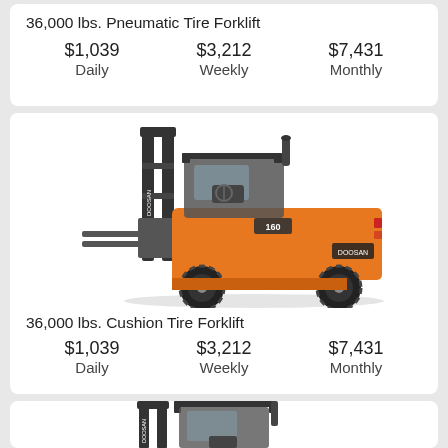36,000 lbs. Pneumatic Tire Forklift
$1,039 Daily   $3,212 Weekly   $7,431 Monthly
[Figure (photo): Doosan 36,000 lbs orange pneumatic tire forklift (model 160) side view]
36,000 lbs. Cushion Tire Forklift
$1,039 Daily   $3,212 Weekly   $7,431 Monthly
[Figure (photo): Doosan 36,000 lbs orange cushion tire forklift partial view from bottom of page]